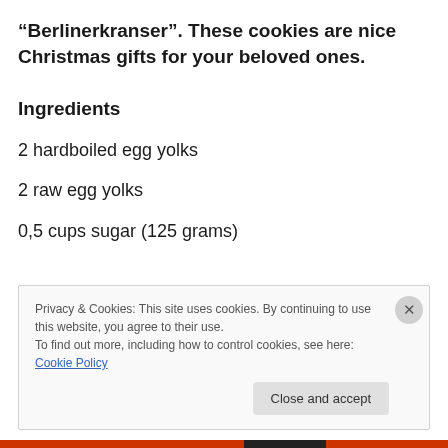“Berlinerkranser”. These cookies are nice Christmas gifts for your beloved ones.
Ingredients
2 hardboiled egg yolks
2 raw egg yolks
0,5 cups sugar (125 grams)
Privacy & Cookies: This site uses cookies. By continuing to use this website, you agree to their use.
To find out more, including how to control cookies, see here: Cookie Policy